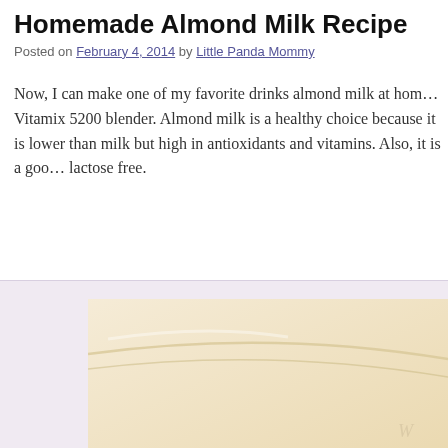Homemade Almond Milk Recipe
Posted on February 4, 2014 by Little Panda Mommy
Now, I can make one of my favorite drinks almond milk at home with my Vitamix 5200 blender. Almond milk is a healthy choice because it is lower than milk but high in antioxidants and vitamins. Also, it is a good choice for lactose free.
[Figure (photo): Close-up photo of almond milk in a glass or bowl, showing creamy pale yellow liquid, partially cropped, displayed within a light purple/lavender bordered frame]